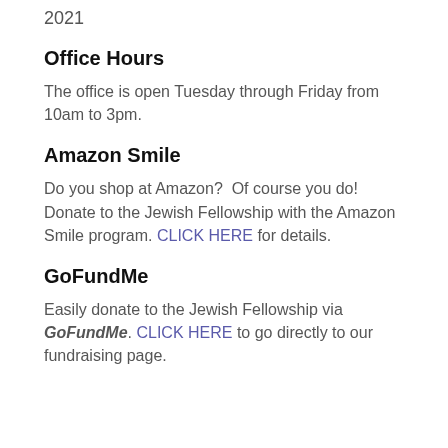2021
Office Hours
The office is open Tuesday through Friday from 10am to 3pm.
Amazon Smile
Do you shop at Amazon?  Of course you do!  Donate to the Jewish Fellowship with the Amazon Smile program. CLICK HERE for details.
GoFundMe
Easily donate to the Jewish Fellowship via GoFundMe. CLICK HERE to go directly to our fundraising page.